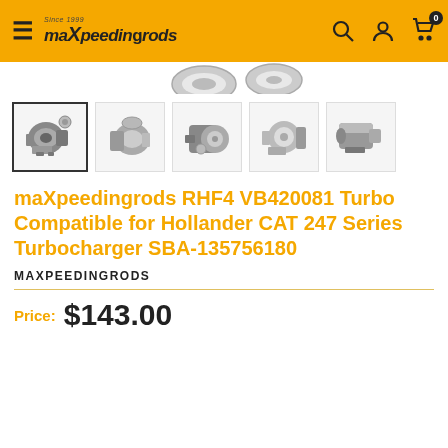maXpeedingrods — navigation header with hamburger menu, logo, search, account, and cart (0 items)
[Figure (photo): Product thumbnail images of maXpeedingrods RHF4 VB420081 turbocharger from multiple angles — 5 thumbnail views shown in a row, first thumbnail selected/highlighted]
maXpeedingrods RHF4 VB420081 Turbo Compatible for Hollander CAT 247 Series Turbocharger SBA-135756180
MAXPEEDINGRODS
Price: $143.00